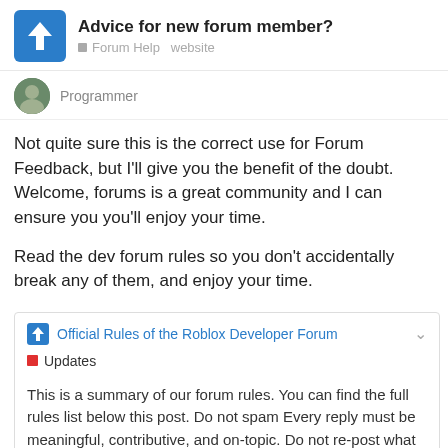Advice for new forum member? — Forum Help · website
Programmer
Not quite sure this is the correct use for Forum Feedback, but I'll give you the benefit of the doubt. Welcome, forums is a great community and I can ensure you you'll enjoy your time.

Read the dev forum rules so you don't accidentally break any of them, and enjoy your time.
Official Rules of the Roblox Developer Forum
Updates
This is a summary of our forum rules. You can find the full rules list below this post. Do not spam Every reply must be meaningful, contributive, and on-topic. Do not re-post what others have already said, do not post memes or single-word posts such as "First!" or "bump", and put effort into your posts. Use the Like button instead of replying "Thanks!" or other generic sentences. D... any character limit requirements with cl...